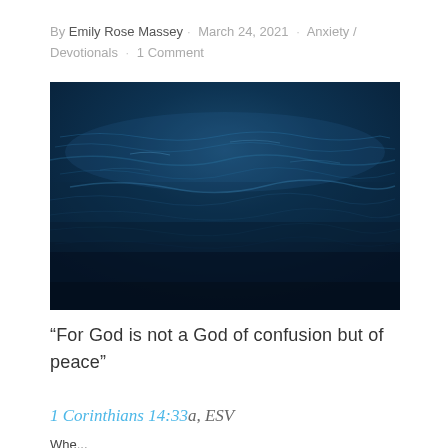By Emily Rose Massey · March 24, 2021 · Anxiety / Devotionals · 1 Comment
[Figure (photo): Dark blue ocean water surface with gentle rippling waves, viewed from above]
"For God is not a God of confusion but of peace"
1 Corinthians 14:33a, ESV
Whe...